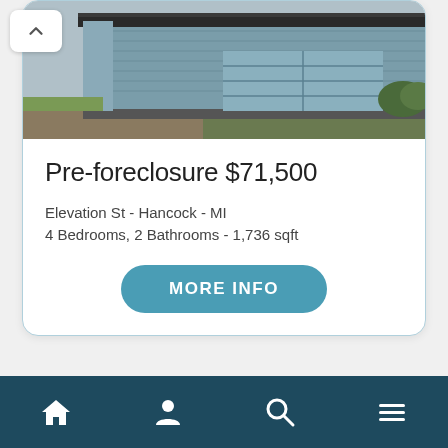[Figure (photo): Exterior photo of a house with blue siding and a garage door, visible grass and landscaping in the foreground]
Pre-foreclosure $71,500
Elevation St - Hancock - MI
4 Bedrooms, 2 Bathrooms - 1,736 sqft
MORE INFO
Home | Profile | Search | Menu